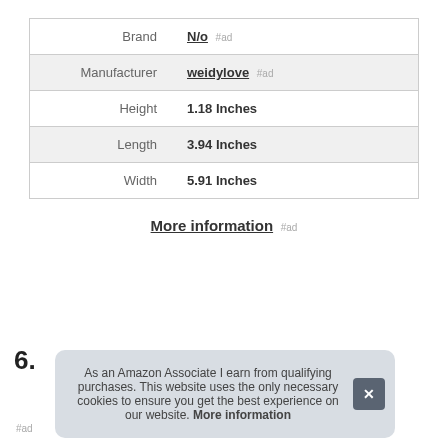|  |  |
| --- | --- |
| Brand | N/o #ad |
| Manufacturer | weidylove #ad |
| Height | 1.18 Inches |
| Length | 3.94 Inches |
| Width | 5.91 Inches |
More information #ad
6.
As an Amazon Associate I earn from qualifying purchases. This website uses the only necessary cookies to ensure you get the best experience on our website. More information
#ad